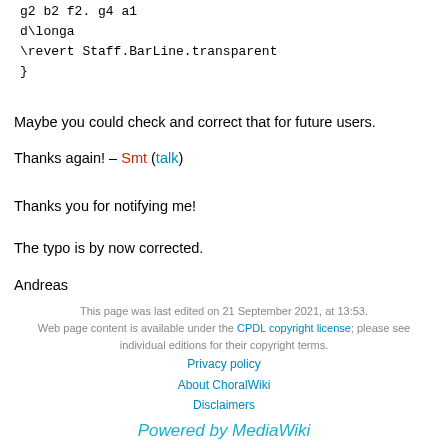g2 b2 f2. g4 a1
d\longa
\revert Staff.BarLine.transparent
}
Maybe you could check and correct that for future users.
Thanks again! – Smt (talk)
Thanks you for notifying me!
The typo is by now corrected.
Andreas
This page was last edited on 21 September 2021, at 13:53.
Web page content is available under the CPDL copyright license; please see individual editions for their copyright terms.
Privacy policy
About ChoralWiki
Disclaimers
Powered by MediaWiki